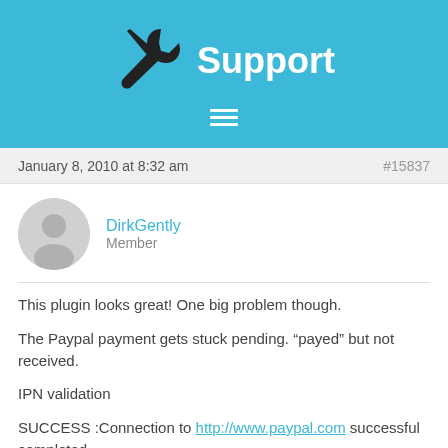Support
January 8, 2010 at 8:32 am  #15837
DirkGently
Member
This plugin looks great! One big problem though.
The Paypal payment gets stuck pending. “payed” but not received.
IPN validation
SUCCESS :Connection to http://www.paypal.com successful completed.
SUCCESS :IPN successfully verified.
SUCCESS :Creating product Information to send.